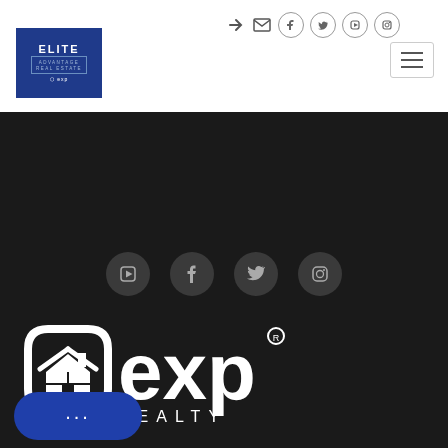[Figure (logo): Elite Advantage Real Estate logo — white text on dark blue background with border outline]
[Figure (illustration): Top navigation icons: login arrow, envelope, Facebook circle, Twitter circle, YouTube circle, Instagram circle, and hamburger menu button]
[Figure (illustration): Dark footer section with four social media icon circles (YouTube, Facebook, Twitter, Instagram) and eXp Realty white logo]
MLS® Disclaimer
[Figure (logo): Broker Reciprocity badge — white rectangle with text 'Broker Reciprocity']
The data relating to real estate for sale on this web site comes in part from the Broker Reciprocity